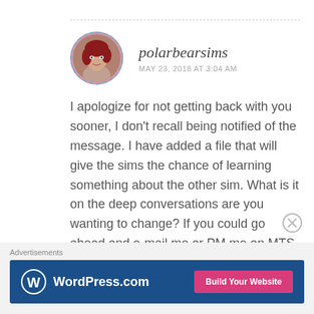[Figure (photo): Circular avatar photo of a woman with red hair, framed by a dashed teal border]
polarbearsims
MAY 23, 2018 AT 3:04 AM
I apologize for not getting back with you sooner, I don't recall being notified of the message. I have added a file that will give the sims the chance of learning something about the other sim. What is it on the deep conversations are you wanting to change? If you could go ahead and e-mail me or PM me on MTS for help on the changes. 🙂
Advertisements
[Figure (screenshot): WordPress.com advertisement banner with logo and 'Build Your Website' button]